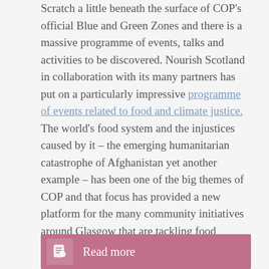Scratch a little beneath the surface of COP's official Blue and Green Zones and there is a massive programme of events, talks and activities to be discovered. Nourish Scotland in collaboration with its many partners has put on a particularly impressive programme of events related to food and climate justice. The world's food system and the injustices caused by it – the emerging humanitarian catastrophe of Afghanistan yet another example – has been one of the big themes of COP and that focus has provided a new platform for the many community initiatives around Glasgow that are tackling food poverty.
Read more